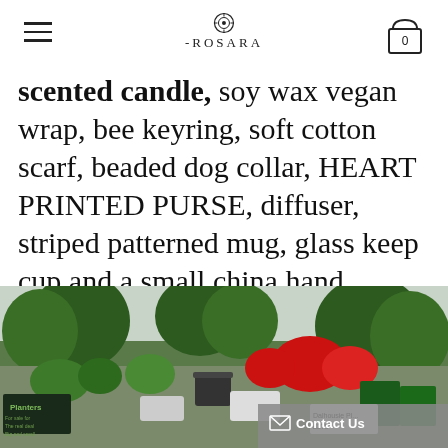ROSARA (logo/navigation header)
scented candle, soy wax vegan wrap, bee keyring, soft cotton scarf, beaded dog collar, HEART PRINTED PURSE, diffuser, striped patterned mug, glass keep cup and a small china hand painted plate.
[Figure (photo): Outdoor garden market stall or nursery with various potted plants, flowers including red blooms, green shrubs, trees, and market signage visible including 'Planters' and 'Dalhousie Pl...'. Overcast sky visible in background.]